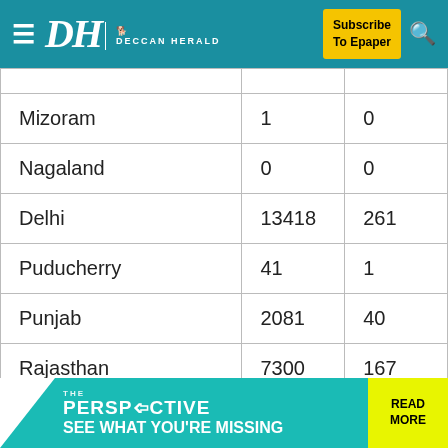DH Deccan Herald — Subscribe To Epaper
| Mizoram | 1 | 0 |
| Nagaland | 0 | 0 |
| Delhi | 13418 | 261 |
| Puducherry | 41 | 1 |
| Punjab | 2081 | 40 |
| Rajasthan | 7300 | 167 |
| Sikkim | 1 | 0 |
[Figure (other): Advertisement banner for 'The Perspective — See What You're Missing' with a Read More button]